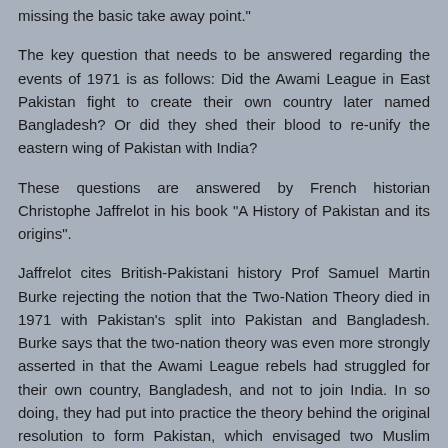missing the basic take away point."
The key question that needs to be answered regarding the events of 1971 is as follows: Did the Awami League in East Pakistan fight to create their own country later named Bangladesh? Or did they shed their blood to re-unify the eastern wing of Pakistan with India?
These questions are answered by French historian Christophe Jaffrelot in his book "A History of Pakistan and its origins".
Jaffrelot cites British-Pakistani history Prof Samuel Martin Burke rejecting the notion that the Two-Nation Theory died in 1971 with Pakistan's split into Pakistan and Bangladesh. Burke says that the two-nation theory was even more strongly asserted in that the Awami League rebels had struggled for their own country, Bangladesh, and not to join India. In so doing, they had put into practice the theory behind the original resolution to form Pakistan, which envisaged two Muslim states at the two extremities of the subcontinent.